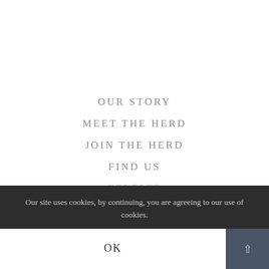OUR STORY
MEET THE HERD
JOIN THE HERD
FIND US
CONTACT
YOUR STORY
Our site uses cookies, by continuing, you are agreeing to our use of cookies.
OK